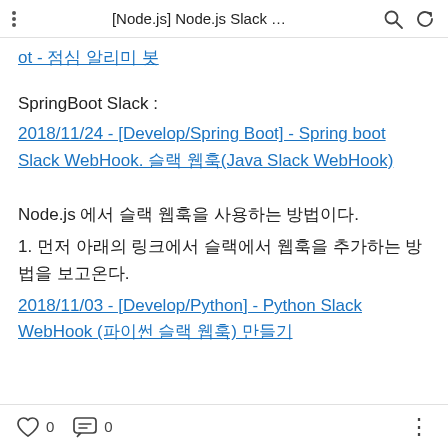[Node.js] Node.js Slack …
ot - 점심 알리미 봇
SpringBoot Slack :
2018/11/24 - [Develop/Spring Boot] - Spring boot Slack WebHook. 슬랙 웹훅(Java Slack WebHook)
Node.js 에서 슬랙 웹훅을 사용하는 방법이다.
1. 먼저 아래의 링크에서 슬랙에서 웹훅을 추가하는 방법을 보고온다.
2018/11/03 - [Develop/Python] - Python Slack WebHook (파이썬 슬랙 웹훅) 만들기
0  0